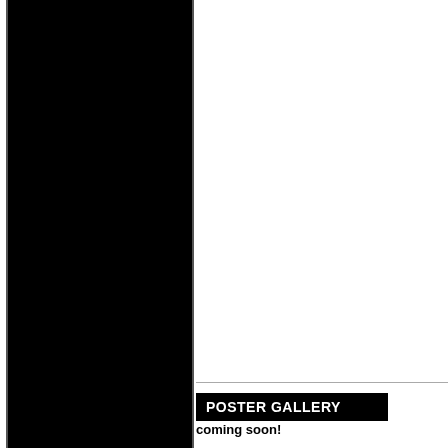[Figure (other): Large solid black rectangular panel on the left side of the page, spanning the full height]
POSTER GALLERY
coming soon!